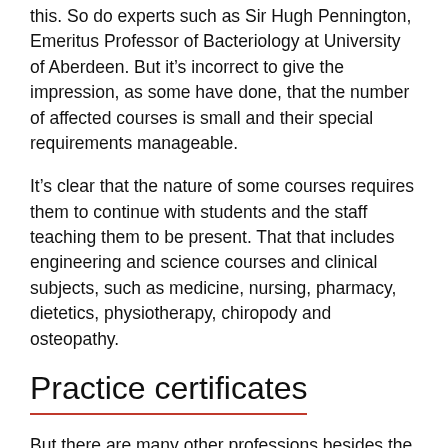this. So do experts such as Sir Hugh Pennington, Emeritus Professor of Bacteriology at University of Aberdeen. But it's incorrect to give the impression, as some have done, that the number of affected courses is small and their special requirements manageable.
It's clear that the nature of some courses requires them to continue with students and the staff teaching them to be present. That that includes engineering and science courses and clinical subjects, such as medicine, nursing, pharmacy, dietetics, physiotherapy, chiropody and osteopathy.
Practice certificates
But there are many other professions besides the more obvious ones. Teachers, social workers, psychologists, psychotherapists all study through vocational courses. Their professional bodies govern content and